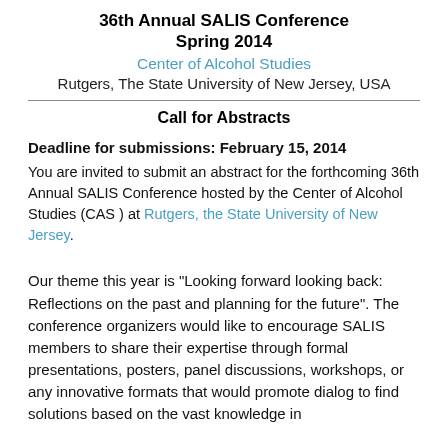36th Annual SALIS Conference
Spring 2014
Center of Alcohol Studies
Rutgers, The State University of New Jersey, USA
Call for Abstracts
Deadline for submissions: February 15, 2014
You are invited to submit an abstract for the forthcoming 36th Annual SALIS Conference hosted by the Center of Alcohol Studies (CAS ) at Rutgers, the State University of New Jersey.
Our theme this year is "Looking forward looking back: Reflections on the past and planning for the future". The conference organizers would like to encourage SALIS members to share their expertise through formal presentations, posters, panel discussions, workshops, or any innovative formats that would promote dialog to find solutions based on the vast knowledge in